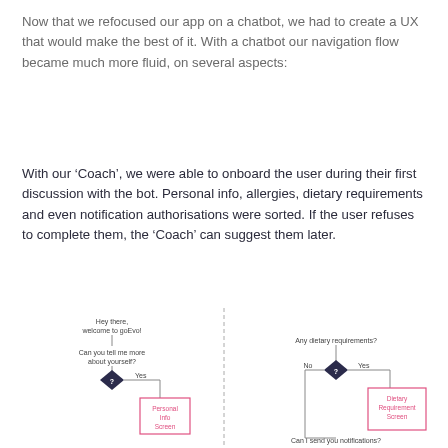Now that we refocused our app on a chatbot, we had to create a UX that would make the best of it. With a chatbot our navigation flow became much more fluid, on several aspects:
With our ‘Coach’, we were able to onboard the user during their first discussion with the bot. Personal info, allergies, dietary requirements and even notification authorisations were sorted. If the user refuses to complete them, the ‘Coach’ can suggest them later.
[Figure (flowchart): A flowchart showing a chatbot onboarding flow. Left side: 'Hey there, welcome to goEvo!' message, then 'Can you tell me more about yourself?' question, a diamond decision node with '?' and 'Yes' branch leading to a pink 'Personal Info Screen' box. Right side: 'Any dietary requirements?' question, a diamond decision node with 'No' and 'Yes' branches; 'Yes' leads to a pink 'Dietary Requirement Screen' box. Bottom right: 'Can I send you notifications?' text. Dashed vertical line separating the two sides.]